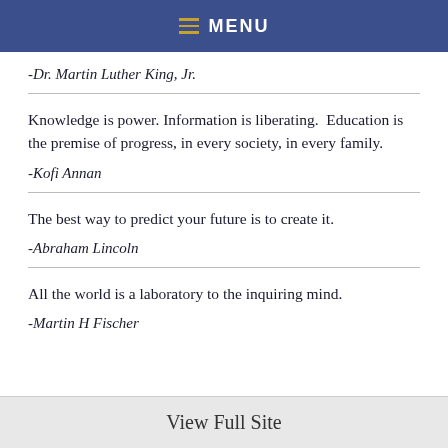MENU
-Dr. Martin Luther King, Jr.
Knowledge is power. Information is liberating.  Education is the premise of progress, in every society, in every family.
-Kofi Annan
The best way to predict your future is to create it.
-Abraham Lincoln
All the world is a laboratory to the inquiring mind.
-Martin H Fischer
View Full Site